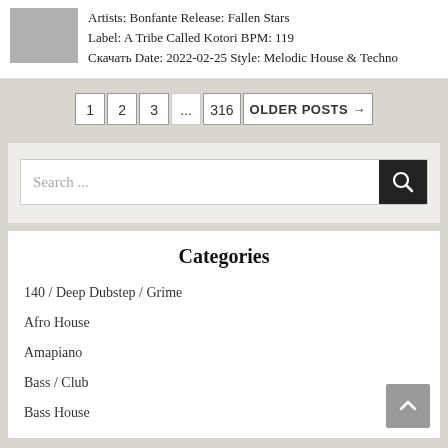Artists: Bonfante Release: Fallen Stars Label: A Tribe Called Kotori BPM: 119 Скачать Date: 2022-02-25 Style: Melodic House & Techno
1
2
3
...
316
OLDER POSTS →
Search ...
Categories
140 / Deep Dubstep / Grime
Afro House
Amapiano
Bass / Club
Bass House